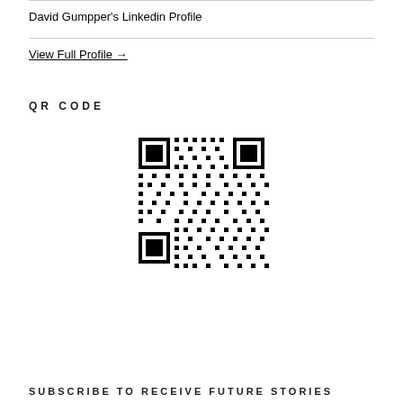David Gumpper's Linkedin Profile
View Full Profile →
QR CODE
[Figure (other): QR code image linking to David Gumpper's LinkedIn profile]
SUBSCRIBE TO RECEIVE FUTURE STORIES